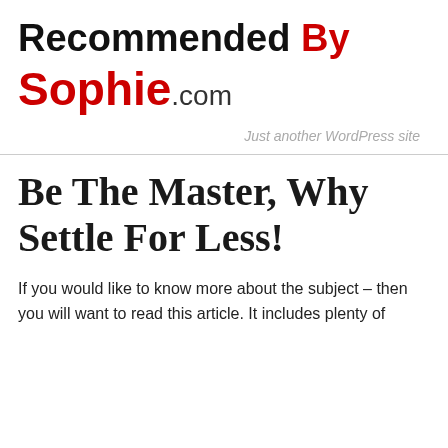Recommended By Sophie.com
Just another WordPress site
Be The Master, Why Settle For Less!
If you would like to know more about the subject – then you will want to read this article. It includes plenty of